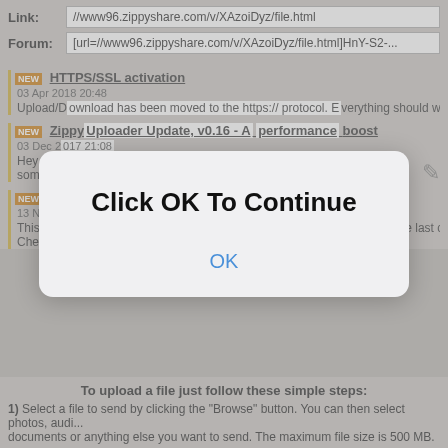Link: //www96.zippyshare.com/v/XAzoiDyz/file.html
Forum: [url=//www96.zippyshare.com/v/XAzoiDyz/file.html]HnY-S2-...
[Figure (screenshot): Modal dialog overlay with text 'Click OK To Continue' and an OK button]
HTTPS/SSL activation
03 Apr 2018 20:48
Upload/Download has been moved to the https:// protocol. Everything should work...
ZippyUploader Update, v0.16 - A performance boost
03 Dec 2017 21:08
Hey folks, <strong>A quick update:</strong> Today a new version (0.0.16.0) of the something ...
500MB - We just increased the file size limit
13 Nov 2017 00:08
This is probably a long-awaited update, but I assure you that this is not the last chan... Cheers! ...
To upload a file just follow these simple steps:
1) Select a file to send by clicking the "Browse" button. You can then select photos, audi... documents or anything else you want to send. The maximum file size is 500 MB.